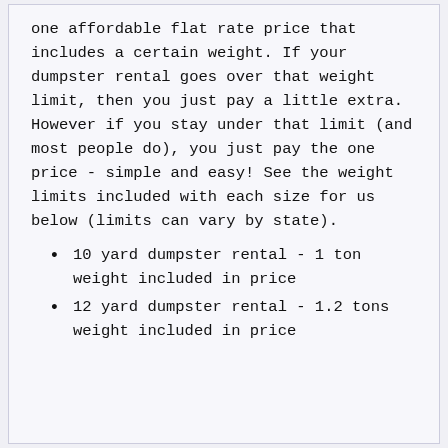one affordable flat rate price that includes a certain weight. If your dumpster rental goes over that weight limit, then you just pay a little extra. However if you stay under that limit (and most people do), you just pay the one price - simple and easy! See the weight limits included with each size for us below (limits can vary by state).
10 yard dumpster rental - 1 ton weight included in price
12 yard dumpster rental - 1.2 tons weight included in price